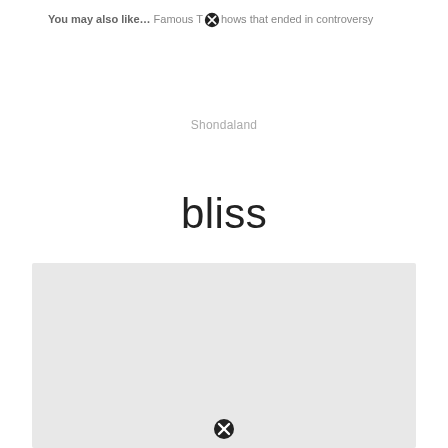You may also like… Famous TV shows that ended in controversy
Shondaland
bliss
[Figure (other): Gray placeholder image box with a close/dismiss button at the bottom center]